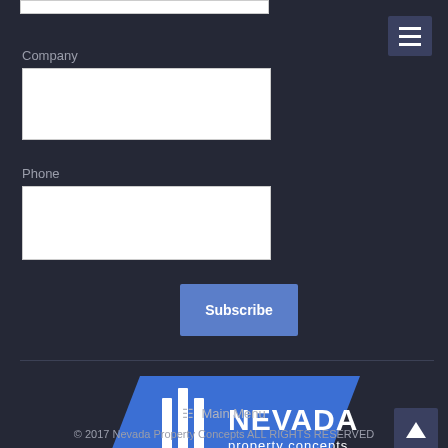Company
Phone
Subscribe
[Figure (logo): Nevada Property Concepts logo — blue parallelogram background with white building/shield icon and text 'NEVADA property concepts']
Main Menu
© 2017 Nevada Property Concepts ALL RIGHTS RESERVED